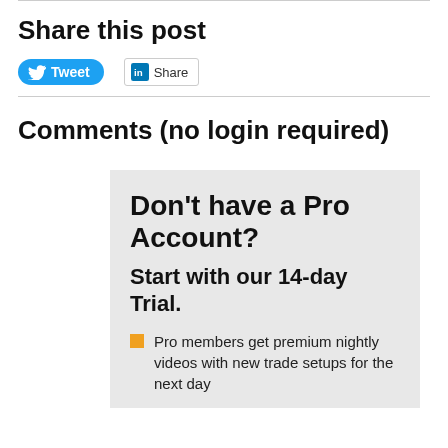Share this post
[Figure (other): Social sharing buttons: Tweet button (Twitter/X, blue pill shape) and Share button (LinkedIn, bordered rectangle)]
Comments (no login required)
Don't have a Pro Account? Start with our 14-day Trial.
Pro members get premium nightly videos with new trade setups for the next day